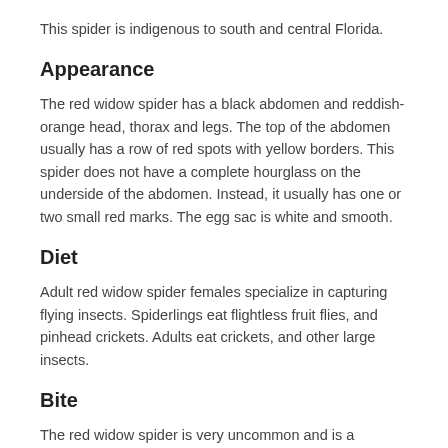This spider is indigenous to south and central Florida.
Appearance
The red widow spider has a black abdomen and reddish-orange head, thorax and legs. The top of the abdomen usually has a row of red spots with yellow borders. This spider does not have a complete hourglass on the underside of the abdomen. Instead, it usually has one or two small red marks. The egg sac is white and smooth.
Diet
Adult red widow spider females specialize in capturing flying insects. Spiderlings eat flightless fruit flies, and pinhead crickets. Adults eat crickets, and other large insects.
Bite
The red widow spider is very uncommon and is a member of the black widow family, which is highly venomous. This spider can be harmful to people. The female's venom is a neurotoxin which causes sustained muscle spasm rather than local tissue injury.
With all of the widow spiders, the venom ranges from 10-25%